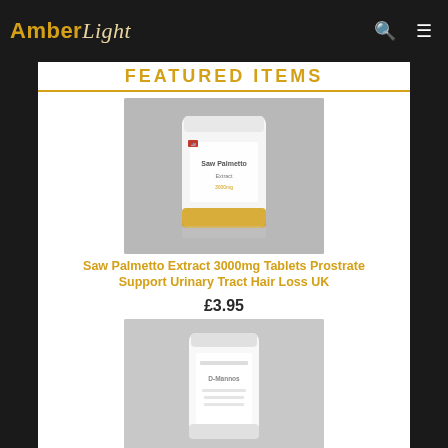AmberLight
FEATURED ITEMS
[Figure (photo): Saw Palmetto Extract supplement pouch in white packaging with gold accent on bottom, on grey background]
Saw Palmetto Extract 3000mg Tablets Prostrate Support Urinary Tract Hair Loss UK
£3.95
[Figure (photo): D-Mannose supplement pouch in white packaging, on grey background]
D-Mannose 4000mg tablets Supports Healthy